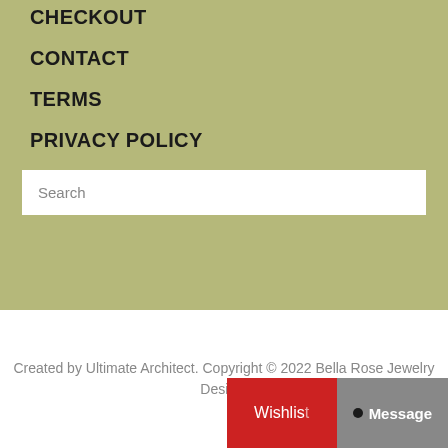CHECKOUT
CONTACT
TERMS
PRIVACY POLICY
Search
Created by Ultimate Architect. Copyright © 2022 Bella Rose Jewelry Design.
Wishlist
Message